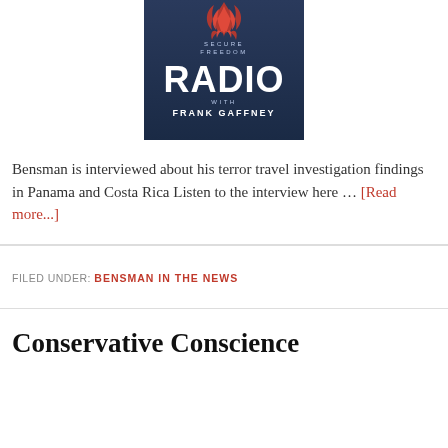[Figure (logo): Secure Freedom Radio with Frank Gaffney logo — dark blue background with flame graphic, large white 'RADIO' text, and 'SECURE FREEDOM' above and 'WITH FRANK GAFFNEY' below]
Bensman is interviewed about his terror travel investigation findings in Panama and Costa Rica Listen to the interview here … [Read more...]
FILED UNDER: BENSMAN IN THE NEWS
Conservative Conscience